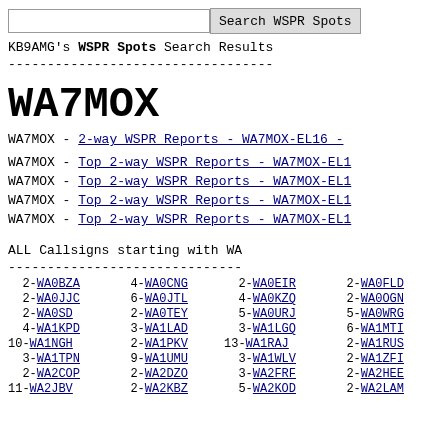Search WSPR Spots
KB9AMG's WSPR Spots Search Results
WA7MOX
WA7MOX - 2-way WSPR Reports - WA7MOX-EL16 -
WA7MOX - Top 2-way WSPR Reports - WA7MOX-EL1
WA7MOX - Top 2-way WSPR Reports - WA7MOX-EL1
WA7MOX - Top 2-way WSPR Reports - WA7MOX-EL1
WA7MOX - Top 2-way WSPR Reports - WA7MOX-EL1
ALL Callsigns starting with WA
| 2-WA0BZA | 4-WA0CNG | 2-WA0EIR | 2-WA0FLD |
| 2-WA0JJC | 6-WA0JTL | 4-WA0KZQ | 2-WA0OGN |
| 2-WA0SD | 2-WA0TEY | 5-WA0URJ | 5-WA0WRG |
| 4-WA1KPD | 3-WA1LAD | 3-WA1LGQ | 6-WA1MTI |
| 10-WA1NGH | 2-WA1PKV | 13-WA1RAJ | 2-WA1RUS |
| 3-WA1TPN | 9-WA1UMU | 3-WA1WLV | 2-WA1ZFI |
| 2-WA2COP | 2-WA2DZO | 3-WA2FRF | 2-WA2HEE |
| 11-WA2JBV | 2-WA2KBZ | 5-WA2KOD | 2-WA2LAM |